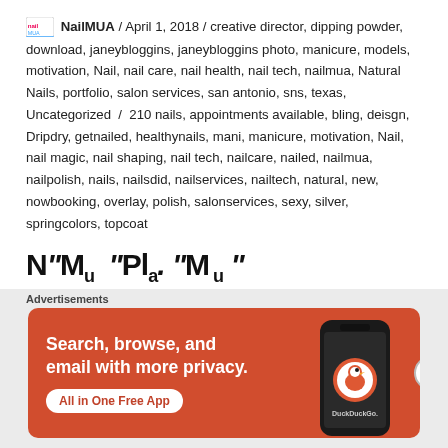NailMUA / April 1, 2018 / creative director, dipping powder, download, janeybloggins, janeybloggins photo, manicure, models, motivation, Nail, nail care, nail health, nail tech, nailmua, Natural Nails, portfolio, salon services, san antonio, sns, texas, Uncategorized / 210 nails, appointments available, bling, deisgn, Dripdry, getnailed, healthynails, mani, manicure, motivation, Nail, nail magic, nail shaping, nail tech, nailcare, nailed, nailmua, nailpolish, nails, nailsdid, nailservices, nailtech, natural, new, nowbooking, overlay, polish, salonservices, sexy, silver, springcolors, topcoat
[Figure (infographic): DuckDuckGo advertisement banner with orange background. Text: 'Search, browse, and email with more privacy. All in One Free App'. Shows a smartphone with DuckDuckGo logo.]